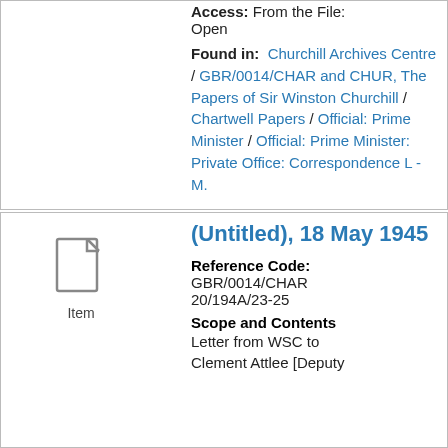Access: From the File: Open
Found in: Churchill Archives Centre / GBR/0014/CHAR and CHUR, The Papers of Sir Winston Churchill / Chartwell Papers / Official: Prime Minister / Official: Prime Minister: Private Office: Correspondence L - M.
(Untitled), 18 May 1945
Reference Code: GBR/0014/CHAR 20/194A/23-25
Scope and Contents
Letter from WSC to Clement Attlee [Deputy